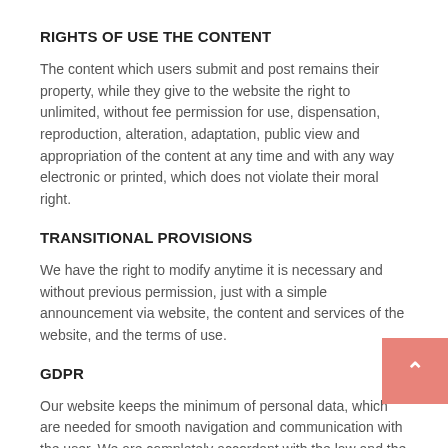RIGHTS OF USE THE CONTENT
The content which users submit and post remains their property, while they give to the website the right to unlimited, without fee permission for use, dispensation, reproduction, alteration, adaptation, public view and appropriation of the content at any time and with any way electronic or printed, which does not violate their moral right.
TRANSITIONAL PROVISIONS
We have the right to modify anytime it is necessary and without previous permission, just with a simple announcement via website, the content and services of the website, and the terms of use.
GDPR
Our website keeps the minimum of personal data, which are needed for smooth navigation and communication with the user. We are completely accordant with the law and the GDPR provisions.